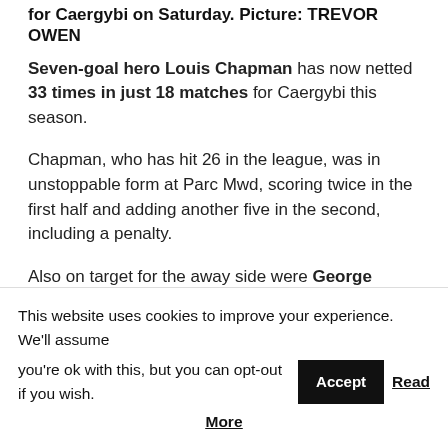for Caergybi on Saturday. Picture: TREVOR OWEN
Seven-goal hero Louis Chapman has now netted 33 times in just 18 matches for Caergybi this season.
Chapman, who has hit 26 in the league, was in unstoppable form at Parc Mwd, scoring twice in the first half and adding another five in the second, including a penalty.
Also on target for the away side were George Hibbert, Steve Driedyk and Dave Webb (2).
CPD Mountain Rangers 2
This website uses cookies to improve your experience. We'll assume you're ok with this, but you can opt-out if you wish. Accept Read More